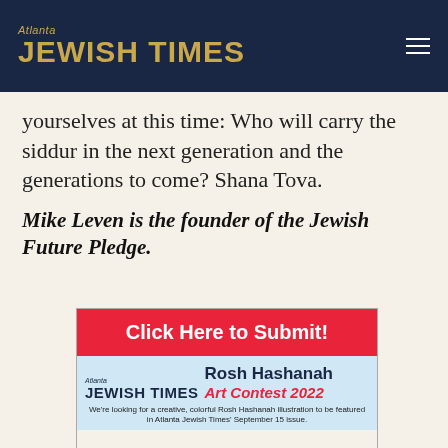Atlanta JEWISH TIMES
yourselves at this time: Who will carry the siddur in the next generation and the generations to come? Shana Tova.
Mike Leven is the founder of the Jewish Future Pledge.
[Figure (illustration): Atlanta Jewish Times Rosh Hashanah Art Contest 2022 advertisement. Red banner with 'Click Here to Submit!' text, Atlanta Jewish Times logo, 'Rosh Hashanah Art Contest 2022' heading, and text: We're looking for a creative, colorful Rosh Hashanah illustration to be featured in Atlanta Jewish Times' September 15 issue.]